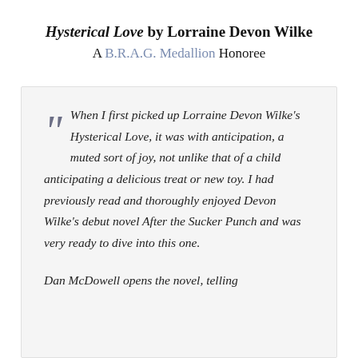Hysterical Love by Lorraine Devon Wilke
A B.R.A.G. Medallion Honoree
When I first picked up Lorraine Devon Wilke's Hysterical Love, it was with anticipation, a muted sort of joy, not unlike that of a child anticipating a delicious treat or new toy. I had previously read and thoroughly enjoyed Devon Wilke's debut novel After the Sucker Punch and was very ready to dive into this one.
Dan McDowell opens the novel, telling